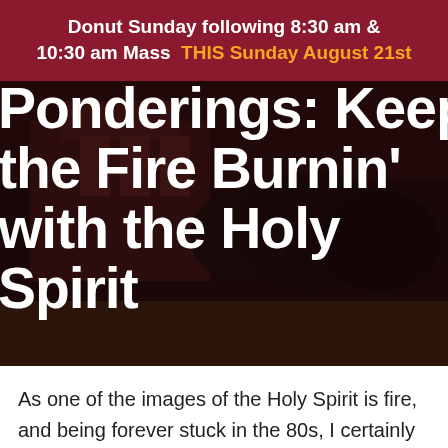Donut Sunday following 8:30 am & 10:30 am Mass  THIS Sunday August 21st
[Figure (photo): Dark reddish-brown photo of a church building exterior with trees, overlaid with large white bold text reading 'Ponderings: Keep the Fire Burnin' with the Holy Spirit']
As one of the images of the Holy Spirit is fire, and being forever stuck in the 80s, I certainly could not